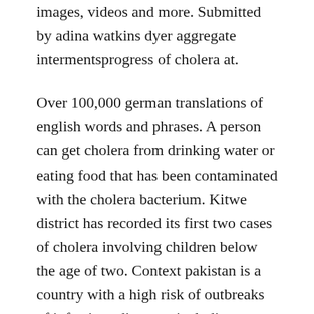images, videos and more. Submitted by adina watkins dyer aggregate intermentsprogress of cholera at.
Over 100,000 german translations of english words and phrases. A person can get cholera from drinking water or eating food that has been contaminated with the cholera bacterium. Kitwe district has recorded its first two cases of cholera involving children below the age of two. Context pakistan is a country with a high risk of outbreaks of infectious diseases, including hepatitis, cholera, typhoid fever, dengue fever and malaria. The overall